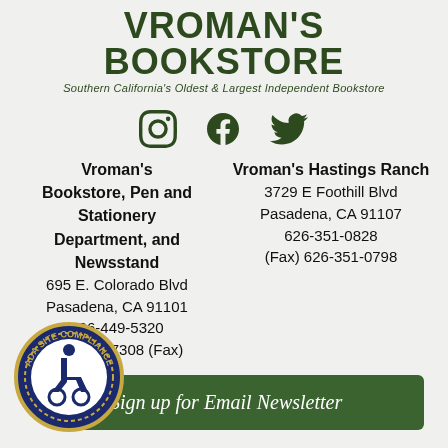VROMAN'S BOOKSTORE
Southern California's Oldest & Largest Independent Bookstore
[Figure (logo): Social media icons: Instagram, Facebook, Twitter in dark green]
Vroman's Bookstore, Pen and Stationery Department, and Newsstand
695 E. Colorado Blvd
Pasadena, CA 91101
626-449-5320
626-792-7308 (Fax)
Vroman's Hastings Ranch
3729 E Foothill Blvd
Pasadena, CA 91107
626-351-0828
(Fax) 626-351-0798
[Figure (logo): ADA Site Compliance badge with wheelchair accessibility symbol]
Sign up for Email Newsletter